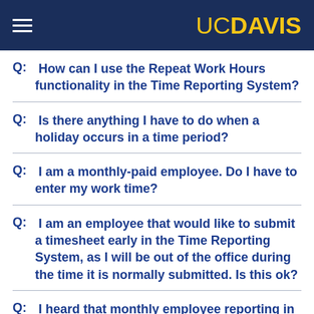UC DAVIS
Q: How can I use the Repeat Work Hours functionality in the Time Reporting System?
Q: Is there anything I have to do when a holiday occurs in a time period?
Q: I am a monthly-paid employee. Do I have to enter my work time?
Q: I am an employee that would like to submit a timesheet early in the Time Reporting System, as I will be out of the office during the time it is normally submitted. Is this ok?
Q: I heard that monthly employee reporting in TRS is done in arrears. What does this mean, and how does it relate to the vacation and sick leave